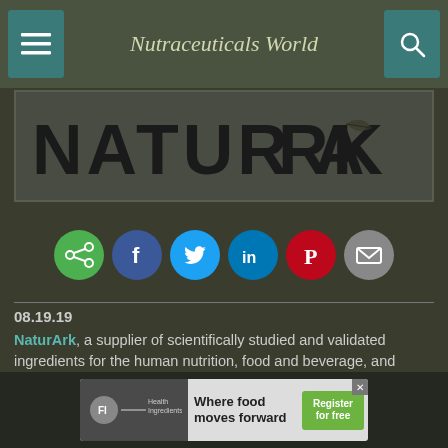Nutraceuticals World
[Figure (logo): NATURARK logo in large bold uppercase letters with a leaf/feather accent on the A]
[Figure (infographic): Row of social sharing icon buttons: share (green), Facebook (dark blue), Twitter (blue), LinkedIn (blue), Pinterest (red), Email (gray)]
08.19.19
NaturArk, a supplier of scientifically studied and validated ingredients for the human nutrition, food and beverage, and health and beauty industries, has launched a line of clinically validated ingredients to address health applications including inflammation, pain management, and associated categories in North America.
[Figure (screenshot): Advertisement banner: 'Where food moves forward' with Register for free button, featuring FI and Health Ingredients logos]